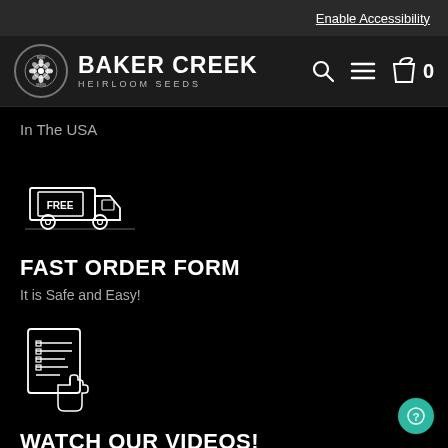Enable Accessibility
[Figure (logo): Baker Creek Heirloom Seeds logo with circular badge and text]
In The USA
[Figure (illustration): Delivery truck icon with FREE sign]
FAST ORDER FORM
It is Safe and Easy!
[Figure (illustration): Hand clicking on a document/order form icon]
WATCH OUR VIDEOS!